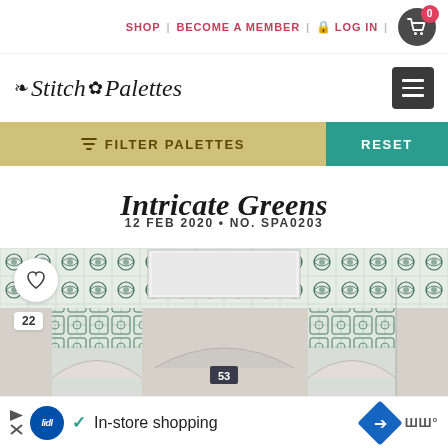SHOP | BECOME A MEMBER | LOG IN | 0
Stitch Palettes
FILTER PALETTES  RESET
Intricate Greens
12 FEB 2020 • NO. SPA0203
[Figure (photo): Photo of an ornate building facade with green and white decorative tiles in intricate geometric patterns. A white rectangular panel (window or door) is visible in the center. The number 53 appears at the bottom center.]
22
In-store shopping